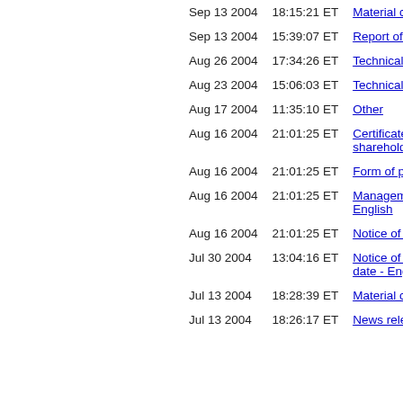| Date | Time | Description |
| --- | --- | --- |
| Sep 13 2004 | 18:15:21 ET | Material ch... |
| Sep 13 2004 | 15:39:07 ET | Report of w... |
| Aug 26 2004 | 17:34:26 ET | Technical r... |
| Aug 23 2004 | 15:06:03 ET | Technical r... |
| Aug 17 2004 | 11:35:10 ET | Other |
| Aug 16 2004 | 21:01:25 ET | Certificate r... shareholde... |
| Aug 16 2004 | 21:01:25 ET | Form of pro... |
| Aug 16 2004 | 21:01:25 ET | Manageme... English |
| Aug 16 2004 | 21:01:25 ET | Notice of m... |
| Jul 30 2004 | 13:04:16 ET | Notice of th... date - Engl... |
| Jul 13 2004 | 18:28:39 ET | Material ch... |
| Jul 13 2004 | 18:26:17 ET | News relea... |